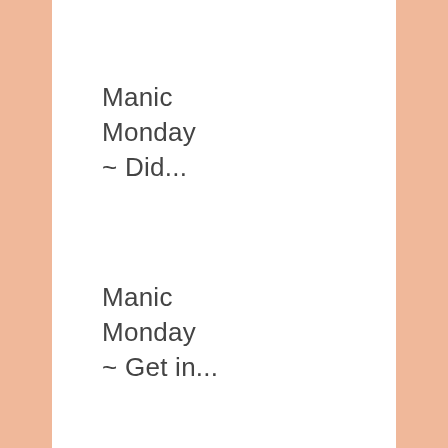Manic Monday ~ Did...
Manic Monday ~ Get in...